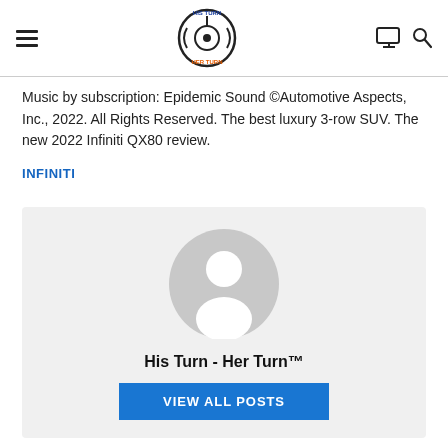His Turn - Her Turn logo, hamburger menu, monitor icon, search icon
Music by subscription: Epidemic Sound ©Automotive Aspects, Inc., 2022. All Rights Reserved. The best luxury 3-row SUV. The new 2022 Infiniti QX80 review.
INFINITI
[Figure (illustration): Author profile box with generic user avatar silhouette, name 'His Turn - Her Turn™', and a blue 'VIEW ALL POSTS' button]
You may also like